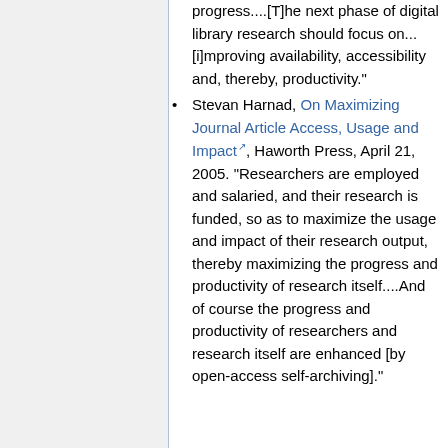progress....[T]he next phase of digital library research should focus on...[i]mproving availability, accessibility and, thereby, productivity."
Stevan Harnad, On Maximizing Journal Article Access, Usage and Impact, Haworth Press, April 21, 2005. "Researchers are employed and salaried, and their research is funded, so as to maximize the usage and impact of their research output, thereby maximizing the progress and productivity of research itself....And of course the progress and productivity of researchers and research itself are enhanced [by open-access self-archiving]."